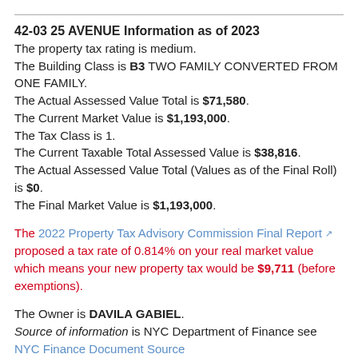42-03 25 AVENUE Information as of 2023
The property tax rating is medium. The Building Class is B3 TWO FAMILY CONVERTED FROM ONE FAMILY. The Actual Assessed Value Total is $71,580. The Current Market Value is $1,193,000. The Tax Class is 1. The Current Taxable Total Assessed Value is $38,816. The Actual Assessed Value Total (Values as of the Final Roll) is $0. The Final Market Value is $1,193,000.
The 2022 Property Tax Advisory Commission Final Report proposed a tax rate of 0.814% on your real market value which means your new property tax would be $9,711 (before exemptions).
The Owner is DAVILA GABIEL. Source of information is NYC Department of Finance see NYC Finance Document Source